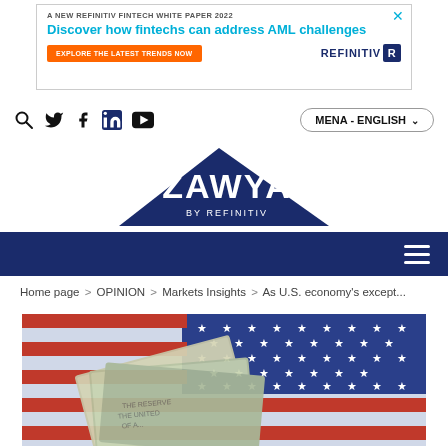[Figure (other): Refinitiv Fintech White Paper 2022 advertisement banner with headline 'Discover how fintechs can address AML challenges' and orange CTA button 'Explore the latest trends now', Refinitiv logo at right]
[Figure (other): Navigation bar with search, Twitter, Facebook, LinkedIn, YouTube icons on left; MENA - ENGLISH language selector on right]
[Figure (logo): ZAWYA by Refinitiv logo — dark navy triangle with white ZAWYA text and 'BY REFINITIV' below]
[Figure (other): Dark navy navigation menu bar with hamburger menu icon on right]
Home page > OPINION > Markets Insights > As U.S. economy's except...
[Figure (photo): Photo of US dollar bills fanned out on top of an American flag with stars and stripes visible]